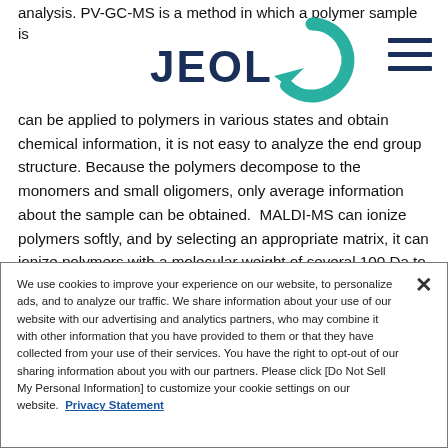analysis. PV-GC-MS is a method in which a polymer sample is
[Figure (logo): JEOL logo with teal circular icon and dark blue hamburger menu icon]
can be applied to polymers in various states and obtain chemical information, it is not easy to analyze the end group structure. Because the polymers decompose to the monomers and small oligomers, only average information about the sample can be obtained.  MALDI-MS can ionize polymers softly, and by selecting an appropriate matrix, it can ionize polymers with a molecular weight of several 100 Da to several 100 kDa.
We use cookies to improve your experience on our website, to personalize ads, and to analyze our traffic. We share information about your use of our website with our advertising and analytics partners, who may combine it with other information that you have provided to them or that they have collected from your use of their services. You have the right to opt-out of our sharing information about you with our partners. Please click [Do Not Sell My Personal Information] to customize your cookie settings on our website.  Privacy Statement